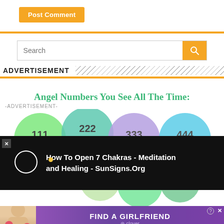Post Comment
[Figure (screenshot): Search bar with orange search button and magnifying glass icon]
ADVERTISEMENT
Angel Numbers You See All The Time:
-ADVERTISEMENT-
[Figure (illustration): Colored circles showing angel numbers 111, 222, 333, 444 in green, teal, purple, and blue]
[Figure (screenshot): Video overlay on black background: circle play icon, yellow dot, text 'How To Open 7 Chakras - Meditation and Healing - SunSigns.Org']
[Figure (illustration): Bottom portion of angel number circles visible above advertisement banner]
[Figure (illustration): Advertisement banner: 'FIND A GIRLFRIEND' with clover branding on purple background, woman with hearts on left]